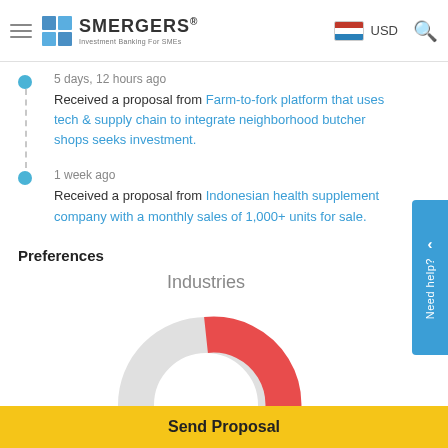SMERGERS® Investment Banking For SMEs
5 days, 12 hours ago
Received a proposal from Farm-to-fork platform that uses tech & supply chain to integrate neighborhood butcher shops seeks investment.
1 week ago
Received a proposal from Indonesian health supplement company with a monthly sales of 1,000+ units for sale.
Preferences
[Figure (donut-chart): Donut chart showing industry preferences with red, salmon/orange, and blue segments on a light gray track.]
Send Proposal